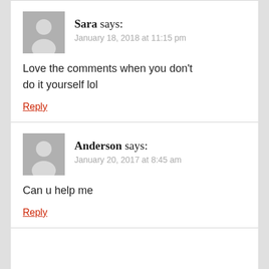Sara says: January 18, 2018 at 11:15 pm
Love the comments when you don't do it yourself lol
Reply
Anderson says: January 20, 2017 at 8:45 am
Can u help me
Reply